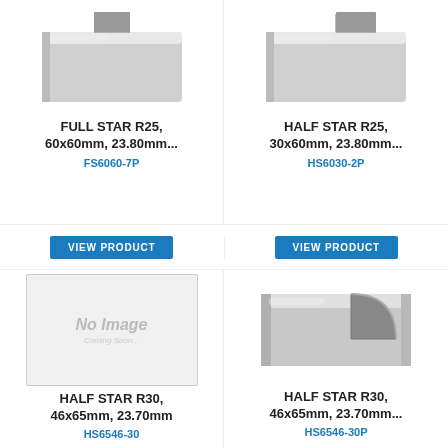[Figure (photo): FULL STAR R25 metal die/stamp product, silver metallic block with V-shaped cutout, top-left product]
FULL STAR R25, 60x60mm, 23.80mm...
FS6060-7P
[Figure (photo): HALF STAR R25 metal die/stamp product, silver metallic block with partial star cutout, top-right product]
HALF STAR R25, 30x60mm, 23.80mm...
HS6030-2P
[Figure (other): VIEW PRODUCT button, blue background, white text]
[Figure (other): VIEW PRODUCT button, blue background, white text]
[Figure (photo): No Image placeholder box, light gray with 'No Image / Coming Soon...' text]
HALF STAR R30, 46x65mm, 23.70mm
HS6546-30
[Figure (photo): HALF STAR R30 metal die/stamp product, silver metallic block with quarter-circle cutout, bottom-right product]
HALF STAR R30, 46x65mm, 23.70mm...
HS6546-30P